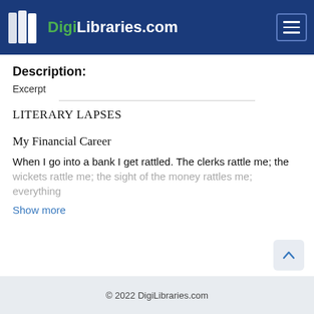DigiLibraries.com
Description:
Excerpt
LITERARY LAPSES
My Financial Career
When I go into a bank I get rattled. The clerks rattle me; the wickets rattle me; the sight of the money rattles me; everything
Show more
© 2022 DigiLibraries.com